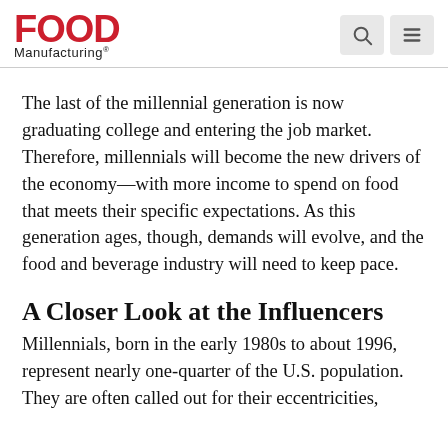Food Manufacturing
The last of the millennial generation is now graduating college and entering the job market. Therefore, millennials will become the new drivers of the economy—with more income to spend on food that meets their specific expectations. As this generation ages, though, demands will evolve, and the food and beverage industry will need to keep pace.
A Closer Look at the Influencers
Millennials, born in the early 1980s to about 1996, represent nearly one-quarter of the U.S. population. They are often called out for their eccentricities,